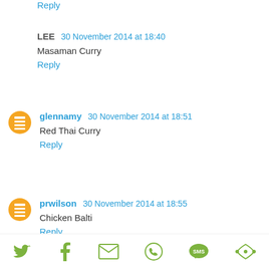Reply
LEE  30 November 2014 at 18:40
Masaman Curry
Reply
glennamy  30 November 2014 at 18:51
Red Thai Curry
Reply
prwilson  30 November 2014 at 18:55
Chicken Balti
Reply
[Figure (infographic): Social share bar with icons for Twitter, Facebook, Email, WhatsApp, SMS, and More]